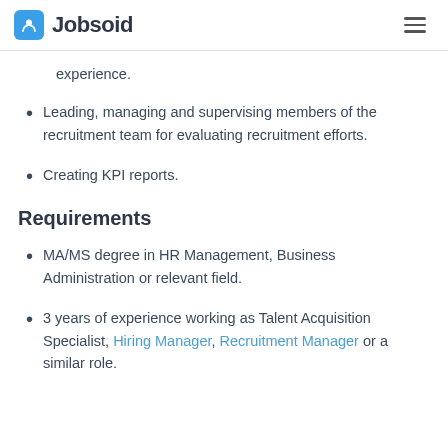Jobsoid
experience.
Leading, managing and supervising members of the recruitment team for evaluating recruitment efforts.
Creating KPI reports.
Requirements
MA/MS degree in HR Management, Business Administration or relevant field.
3 years of experience working as Talent Acquisition Specialist, Hiring Manager, Recruitment Manager or a similar role.